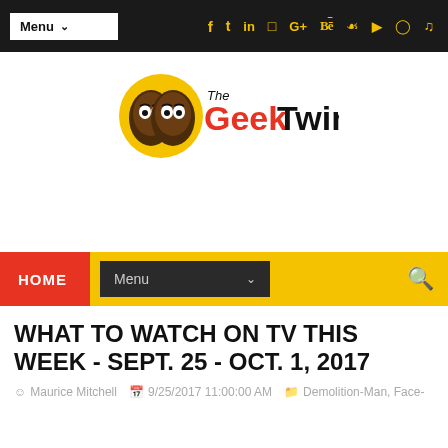Menu | Social icons: Facebook, Twitter, LinkedIn, Instagram, Google+, Behance, Vine, YouTube, Pinterest, SoundCloud
[Figure (logo): The Geek Twins logo: two cartoon faces of Black men back-to-back with a yellow circle background, with the text 'The' above and 'Geek Twins' where Geek is red and Twins is black]
HOME | Menu dropdown | Search icon
WHAT TO WATCH ON TV THIS WEEK - SEPT. 25 - OCT. 1, 2017
Maurice Mitchell | 9/25/2017 11:00:00 AM | Demolition-Man, Face-